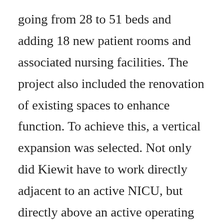going from 28 to 51 beds and adding 18 new patient rooms and associated nursing facilities. The project also included the renovation of existing spaces to enhance function. To achieve this, a vertical expansion was selected. Not only did Kiewit have to work directly adjacent to an active NICU, but directly above an active operating room suite and the Post Anesthesia Care Unit (PACU) of the building's East Wing.

Flexibility, ingenuity, and collaboration were the keys to success on this critical community project. To meet the substantial completion